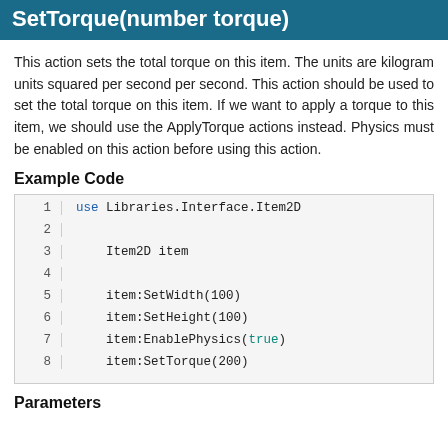SetTorque(number torque)
This action sets the total torque on this item. The units are kilogram units squared per second per second. This action should be used to set the total torque on this item. If we want to apply a torque to this item, we should use the ApplyTorque actions instead. Physics must be enabled on this action before using this action.
Example Code
[Figure (screenshot): Code block showing 8 lines of Quorum code using use Libraries.Interface.Item2D, Item2D item, item:SetWidth(100), item:SetHeight(100), item:EnablePhysics(true), item:SetTorque(200)]
Parameters